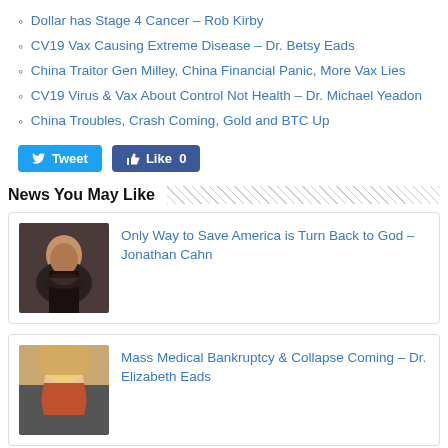Dollar has Stage 4 Cancer – Rob Kirby
CV19 Vax Causing Extreme Disease – Dr. Betsy Eads
China Traitor Gen Milley, China Financial Panic, More Vax Lies
CV19 Virus & Vax About Control Not Health – Dr. Michael Yeadon
China Troubles, Crash Coming, Gold and BTC Up
[Figure (other): Tweet and Like social sharing buttons]
News You May Like
[Figure (photo): Thumbnail photo of Jonathan Cahn, a man with a beard]
Only Way to Save America is Turn Back to God – Jonathan Cahn
[Figure (photo): Thumbnail photo of Dr. Elizabeth Eads, a blonde woman]
Mass Medical Bankruptcy & Collapse Coming – Dr. Elizabeth Eads